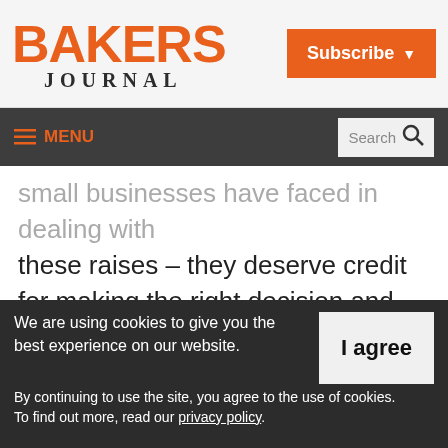BAKERS JOURNAL | Subscribe
≡ MENU | Search
small businesses have faced in dealing with these raises – they deserve credit for making the right decision and giving small businesses a short respite."
"Postponing the increase is a great first step given the slow economic recovery in the
We are using cookies to give you the best experience on our website. By continuing to use the site, you agree to the use of cookies. To find out more, read our privacy policy.